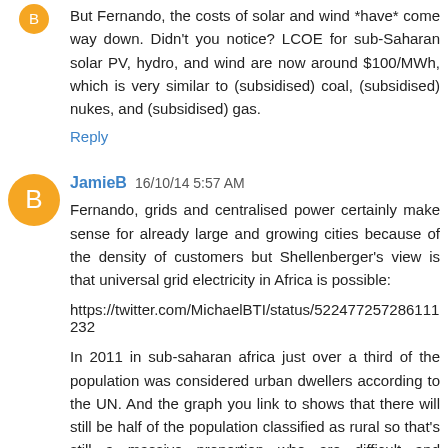But Fernando, the costs of solar and wind *have* come way down. Didn't you notice? LCOE for sub-Saharan solar PV, hydro, and wind are now around $100/MWh, which is very similar to (subsidised) coal, (subsidised) nukes, and (subsidised) gas.
Reply
JamieB  16/10/14 5:57 AM
Fernando, grids and centralised power certainly make sense for already large and growing cities because of the density of customers but Shellenberger's view is that universal grid electricity in Africa is possible:
https://twitter.com/MichaelBTI/status/522477257286111232
In 2011 in sub-saharan africa just over a third of the population was considered urban dwellers according to the UN. And the graph you link to shows that there will still be half of the population classified as rural so that's still a massive proportion who are difficult and expensive to reach by grid electricity.